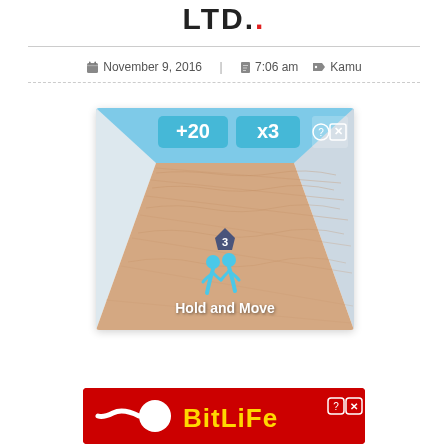LTD..
November 9, 2016   7:06 am   Kamu
[Figure (screenshot): Mobile game screenshot showing a bowling alley-style lane with sandy floor. Blue cartoon figures at bottom with text 'Hold and Move'. Score indicators '+20' and 'x3' at top. Number badge '3' above the figures.]
[Figure (screenshot): Advertisement banner for BitLife game with red background, white sperm-like logo, and yellow 'BitLife' text.]